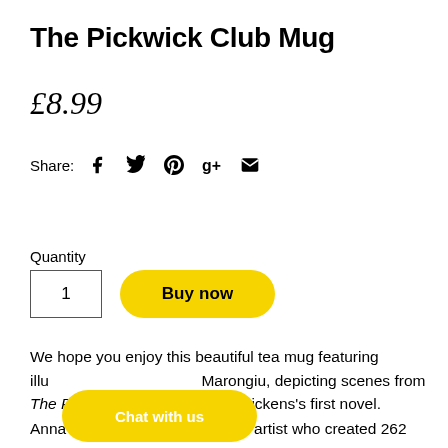The Pickwick Club Mug
£8.99
Share:  [facebook] [twitter] [pinterest] [google+] [email]
Quantity
1  Buy now
We hope you enjoy this beautiful tea mug featuring illu[strations by] Marongiu, depicting scenes from The Pic[kwick Papers, Ch]arles Dickens's first novel.
Chat with us
Anna Marongiu was a Sardinian artist who created 262